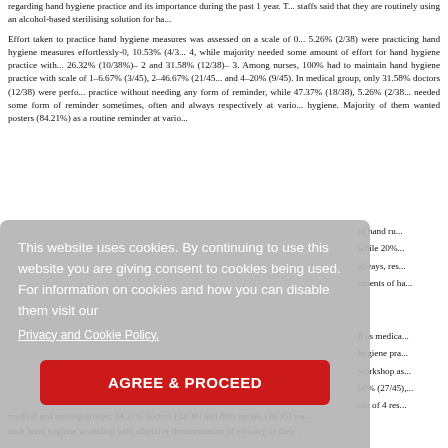regarding hand hygiene practice and its importance during the past 1 year. Staffs said that they are routinely using an alcohol-based sterilising solution for ha...
Effort taken to practice hand hygiene measures was assessed on a scale of 0... 5.26% (2/38) were practicing hand hygiene measures effortlessly-0, 10.53% (4/3... 4, while majority needed some amount of effort for hand hygiene practice with... 26.32% (10/38%)– 2 and 31.58% (12/38)– 3. Among nurses, 100% had to maintain hand hygiene practice with scale of 1–6.67% (3/45), 2–46.67% (21/45... and 4–20% (9/45). In medical group, only 31.58% doctors (12/38) were perfo... practice without needing any form of reminder, while 47.37% (18/38), 5.26% (2/38... needed some form of reminder sometimes, often and always respectively at vario... hygiene. Majority of them wanted posters (84.21%) as a routine reminder at vario...
...of hand ru... while 20%... always, res... oments of ha...
...ll as medica... hygiene pra... workshop as... 60% (27/45),... out of 4 res...
...rkshop if con... medical and nursing groups; 84.21% doctors (32/38) and 80% nurses (36/45) wa... such hand hygiene workshop with objective demonstration of efficacy of their...
This website uses cookies. By continuing to use this website you are giving consent to cookies being used. For information on cookies and how you can disable them visit our
Privacy and Cookie Policy.
AGREE & PROCEED